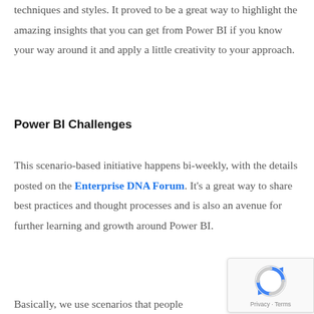techniques and styles. It proved to be a great way to highlight the amazing insights that you can get from Power BI if you know your way around it and apply a little creativity to your approach.
Power BI Challenges
This scenario-based initiative happens bi-weekly, with the details posted on the Enterprise DNA Forum. It's a great way to share best practices and thought processes and is also an avenue for further learning and growth around Power BI.
Basically, we use scenarios that people